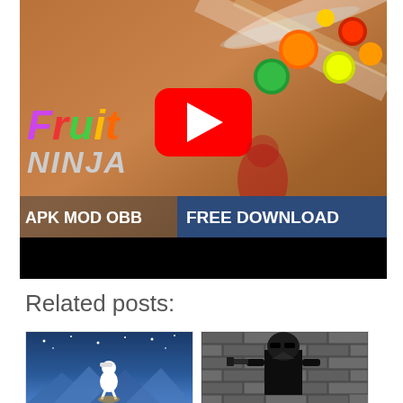[Figure (screenshot): Fruit Ninja game promotional video thumbnail with YouTube play button, APK MOD OBB FREE DOWNLOAD banner, colorful fruit ninja logo text, and black progress bar at bottom.]
Related posts:
[Figure (screenshot): Mobile game app icon showing a white figure with telescope against a blue starry night sky background - likely Alto's Adventure or similar game.]
[Figure (screenshot): Black and white image of a man holding a gun against a brick wall background - appears to be Max Payne or similar action game.]